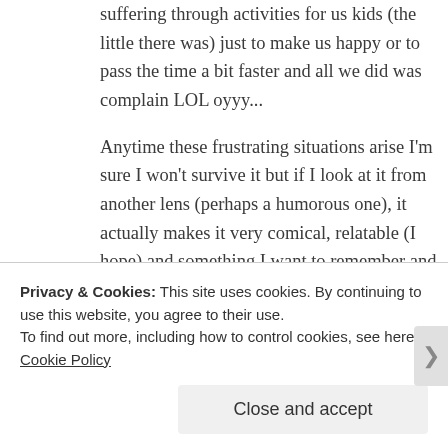suffering through activities for us kids (the little there was) just to make us happy or to pass the time a bit faster and all we did was complain LOL oyyy...
Anytime these frustrating situations arise I'm sure I won't survive it but if I look at it from another lens (perhaps a humorous one), it actually makes it very comical, relatable (I hope) and something I want to remember and share with Charlotte later on too 😊 that's what makes it worth it 🙂
Privacy & Cookies: This site uses cookies. By continuing to use this website, you agree to their use.
To find out more, including how to control cookies, see here: Cookie Policy